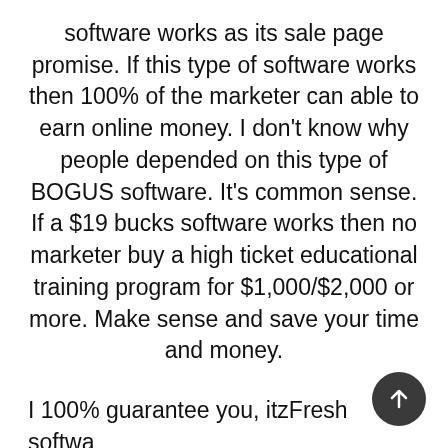software works as its sale page promise. If this type of software works then 100% of the marketer can able to earn online money. I don't know why people depended on this type of BOGUS software. It's common sense. If a $19 bucks software works then no marketer buy a high ticket educational training program for $1,000/$2,000 or more. Make sense and save your time and money.
I 100% guarantee you, itzFresh softwa doesn't work anyhow. This vendor can